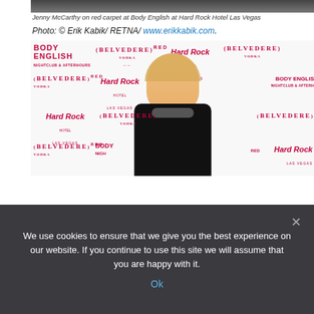[Figure (photo): Top portion of a person's head visible above the main image area — partial crop of the red carpet photo.]
Jenny McCarthy on red carpet at Body English at Hard Rock Hotel Las Vegas
Photo: © Erik Kabik/ RETNA/ www.erikkabik.com.
[Figure (photo): Jenny McCarthy posing on the red carpet step-and-repeat backdrop featuring Body English, Belvedere Vodka RED, and Hard Rock Hotel Las Vegas logos. She is wearing a black dress and statement necklace.]
We use cookies to ensure that we give you the best experience on our website. If you continue to use this site we will assume that you are happy with it. Ok